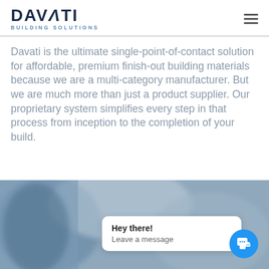[Figure (logo): Davati Building Solutions logo with dark navy text and blue subtitle]
Davati is the ultimate single-point-of-contact solution for affordable, premium finish-out building materials because we are a multi-category manufacturer. But we are much more than just a product supplier. Our proprietary system simplifies every step in that process from inception to the completion of your build.
[Figure (photo): Blurred photo of person in blue shirt, with chat popup overlay saying 'Hey there! Leave a message' and a blue chat button]